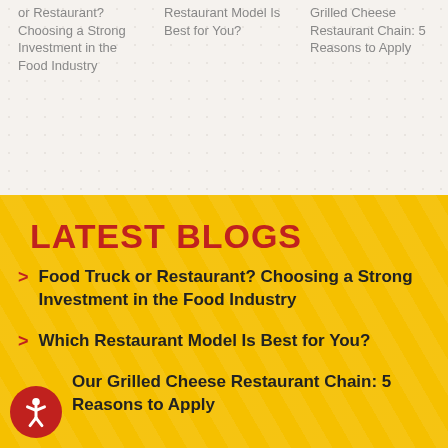Food Truck or Restaurant? Choosing a Strong Investment in the Food Industry
Which Restaurant Model Is Best for You?
Grilled Cheese Restaurant Chain: 5 Reasons to Apply
LATEST BLOGS
Food Truck or Restaurant? Choosing a Strong Investment in the Food Industry
Which Restaurant Model Is Best for You?
Our Grilled Cheese Restaurant Chain: 5 Reasons to Apply